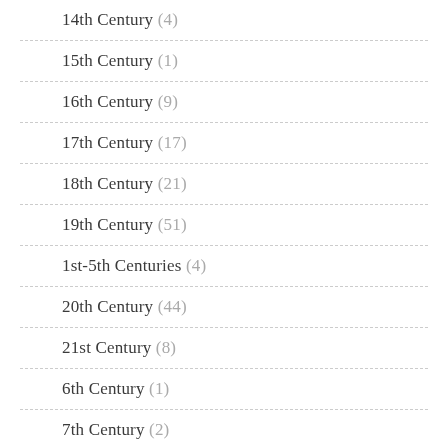14th Century (4)
15th Century (1)
16th Century (9)
17th Century (17)
18th Century (21)
19th Century (51)
1st-5th Centuries (4)
20th Century (44)
21st Century (8)
6th Century (1)
7th Century (2)